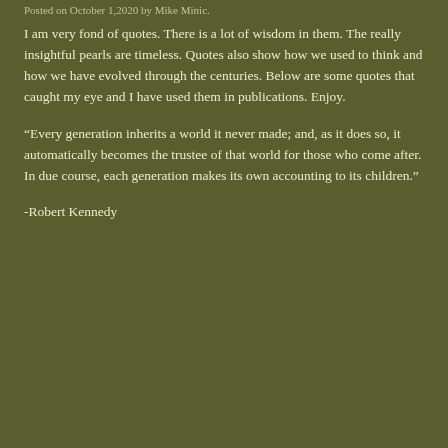Posted on October 1, 2020 by Mike Minic.
I am very fond of quotes.  There is a lot of wisdom in them.  The really insightful pearls are timeless.  Quotes also show how we used to think and how we have evolved through the centuries.  Below are some quotes that caught my eye and I have used them in publications.  Enjoy.
“Every generation inherits a world it never made; and, as it does so, it automatically becomes the trustee of that world for those who come after. In due course, each generation makes its own accounting to its children.”
-Robert Kennedy